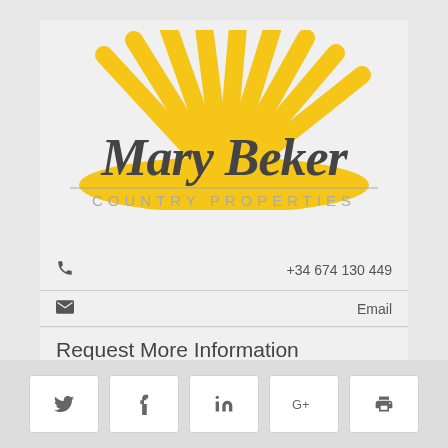[Figure (logo): Mary Beker Country Properties logo with sunburst rays in yellow/gold and stylized script text]
+34 674 130 449
Email
Request More Information
[Figure (other): Social media share bar with Twitter, Facebook, LinkedIn, Google+, and Print buttons]